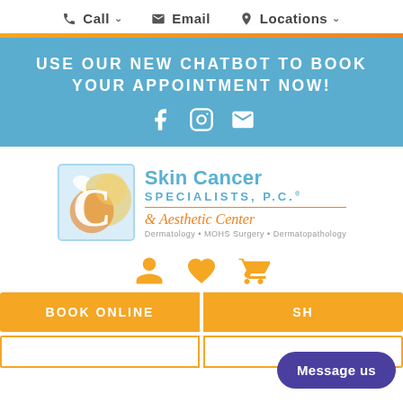Call  Email  Locations
USE OUR NEW CHATBOT TO BOOK YOUR APPOINTMENT NOW!
[Figure (logo): Skin Cancer Specialists, P.C. & Aesthetic Center logo with orange C emblem. Dermatology • MOHS Surgery • Dermatopathology]
[Figure (infographic): Three orange icons: user/person, heart, shopping cart]
BOOK ONLINE
SH...
Message us